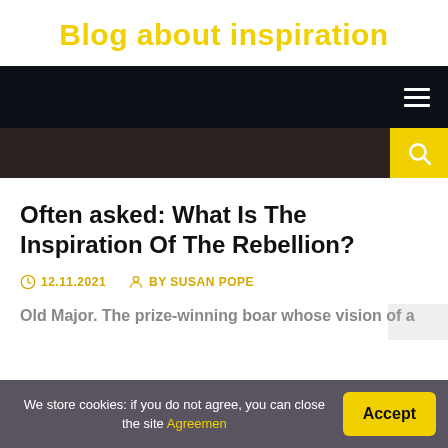Blog about inspiration
[Figure (screenshot): Dark navigation bar with hamburger menu icon on right]
[Figure (screenshot): Dark brown search bar with yellow search button on right]
Often asked: What Is The Inspiration Of The Rebellion?
12.11.2021  BY SUSAN POPE
Old Major. The prize-winning boar whose vision of a
We store cookies: if you do not agree, you can close the site Agreement  Accept